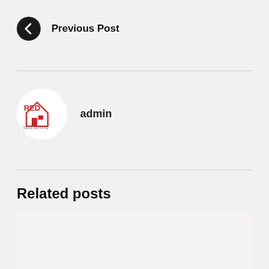Previous Post
admin
Related posts
[Figure (other): Empty related post card placeholder]